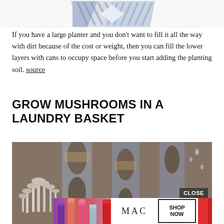[Figure (photo): Partial image of a decorative bow-tie or bow shape with blue and white chevron/geometric pattern, cropped at top of page]
If you have a large planter and you don't want to fill it all the way with dirt because of the cost or weight, then you can fill the lower layers with cans to occupy space before you start adding the planting soil. source
GROW MUSHROOMS IN A LAUNDRY BASKET
[Figure (photo): Close-up photograph of pale mushrooms (enoki or oyster mushrooms) growing in what appears to be a laundry basket or slotted tray, with an overlaid MAC cosmetics advertisement banner at the bottom showing lipsticks and a 'SHOP NOW' button, plus a 'CLOSE' button]